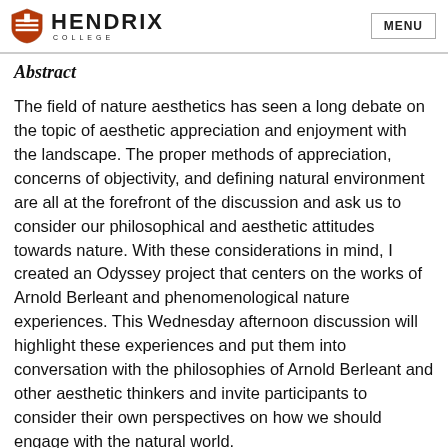Hendrix College — MENU
Abstract
The field of nature aesthetics has seen a long debate on the topic of aesthetic appreciation and enjoyment with the landscape. The proper methods of appreciation, concerns of objectivity, and defining natural environment are all at the forefront of the discussion and ask us to consider our philosophical and aesthetic attitudes towards nature. With these considerations in mind, I created an Odyssey project that centers on the works of Arnold Berleant and phenomenological nature experiences. This Wednesday afternoon discussion will highlight these experiences and put them into conversation with the philosophies of Arnold Berleant and other aesthetic thinkers and invite participants to consider their own perspectives on how we should engage with the natural world.